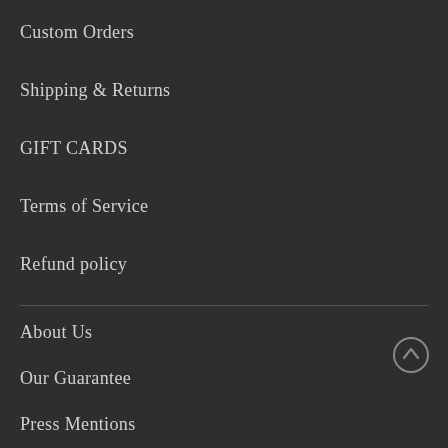Custom Orders
Shipping & Returns
GIFT CARDS
Terms of Service
Refund policy
About Us
Our Guarantee
Press Mentions
Privacy Policy
Terms of Service